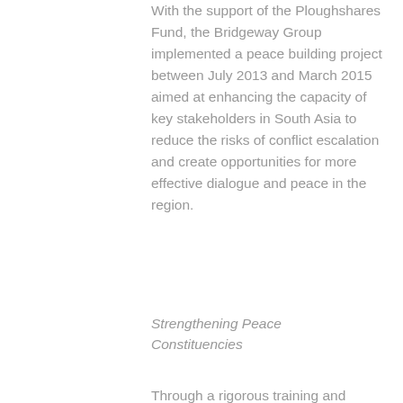With the support of the Ploughshares Fund, the Bridgeway Group implemented a peace building project between July 2013 and March 2015 aimed at enhancing the capacity of key stakeholders in South Asia to reduce the risks of conflict escalation and create opportunities for more effective dialogue and peace in the region.
Strengthening Peace Constituencies
Through a rigorous training and